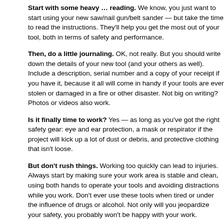Start with some heavy … reading. We know, you just want to start using your new saw/nail gun/belt sander — but take the time to read the instructions. They'll help you get the most out of your tool, both in terms of safety and performance.
Then, do a little journaling. OK, not really. But you should write down the details of your new tool (and your others as well). Include a description, serial number and a copy of your receipt if you have it, because it all will come in handy if your tools are ever stolen or damaged in a fire or other disaster. Not big on writing? Photos or videos also work.
Is it finally time to work? Yes — as long as you've got the right safety gear: eye and ear protection, a mask or respirator if the project will kick up a lot of dust or debris, and protective clothing that isn't loose.
But don't rush things. Working too quickly can lead to injuries. Always start by making sure your work area is stable and clean, using both hands to operate your tools and avoiding distractions while you work. Don't ever use these tools when tired or under the influence of drugs or alcohol. Not only will you jeopardize your safety, you probably won't be happy with your work.
And don't forget maintenance, either. Keep your tools clean and stored in a dry area. Replace parts, such as blades, as soon as they become bent or warped. Never use tools that have been damaged. When you follow the manufacturer's instructions, use a little common sense and treat your tools well, they should serve you faithfully — and we hope that deck you're building will, too.